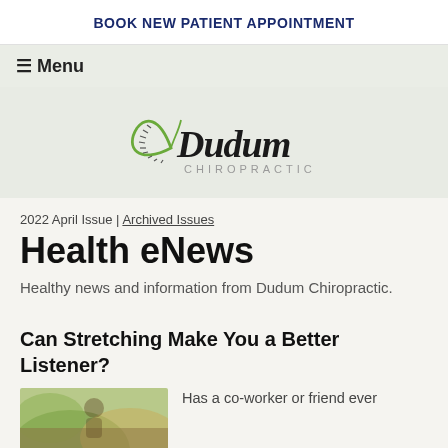BOOK NEW PATIENT APPOINTMENT
≡ Menu
[Figure (logo): Dudum Chiropractic logo with a green apple/spine icon on the left and 'Dudum' in cursive with 'CHIROPRACTIC' in light gray capitals]
2022 April Issue | Archived Issues
Health eNews
Healthy news and information from Dudum Chiropractic.
Can Stretching Make You a Better Listener?
Has a co-worker or friend ever